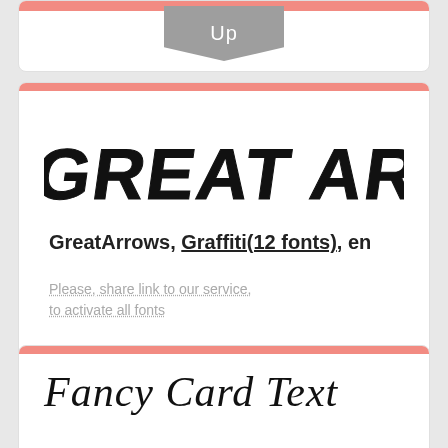[Figure (screenshot): Top portion of a font card with a pink top bar and a gray 'Up' bookmark button]
[Figure (screenshot): Font card showing 'GREAT ARROWS' in stylized graffiti font, metadata, share message, and Apply font button]
GREAT ARROWS
GreatArrows, Graffiti(12 fonts), en
Please, share link to our service, to activate all fonts
Apply font
[Figure (screenshot): Bottom font card showing 'Fancy Card Text' in old English / blackletter style font]